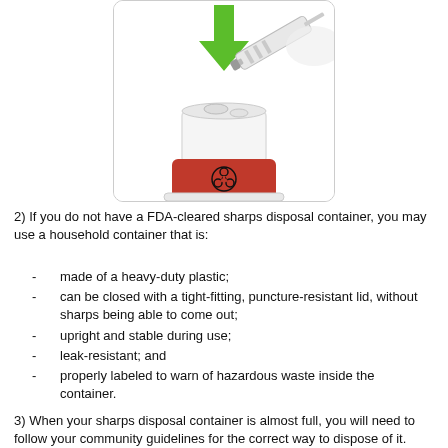[Figure (photo): A syringe being inserted into a sharps disposal container (white top, red biohazard-labeled bottom), with a green downward arrow indicating the direction to insert the needle.]
2) If you do not have a FDA-cleared sharps disposal container, you may use a household container that is:
made of a heavy-duty plastic;
can be closed with a tight-fitting, puncture-resistant lid, without sharps being able to come out;
upright and stable during use;
leak-resistant; and
properly labeled to warn of hazardous waste inside the container.
3) When your sharps disposal container is almost full, you will need to follow your community guidelines for the correct way to dispose of it. There are important state laws about how to